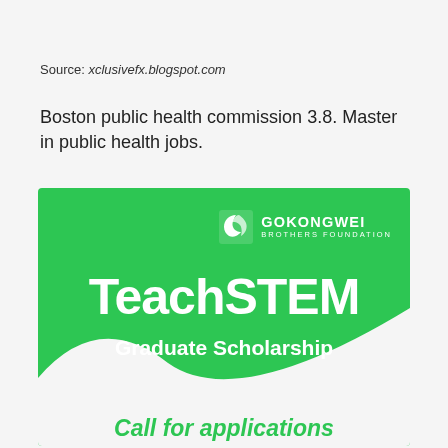Source: xclusivefx.blogspot.com
Boston public health commission 3.8. Master in public health jobs.
[Figure (illustration): Gokongwei Brothers Foundation TeachSTEM Graduate Scholarship banner on green background with wave design and text 'Call for applications']